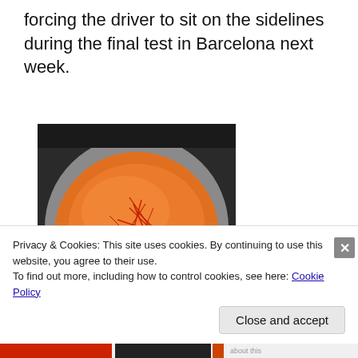forcing the driver to sit on the sidelines during the final test in Barcelona next week.
[Figure (photo): A white bowl filled with bright orange/saffron soup, garnished with saffron threads on top, viewed from above.]
Privacy & Cookies: This site uses cookies. By continuing to use this website, you agree to their use.
To find out more, including how to control cookies, see here: Cookie Policy
Close and accept